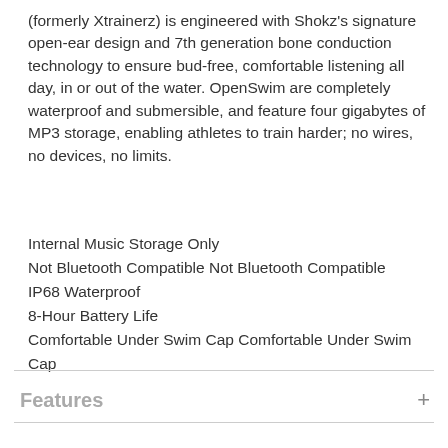(formerly Xtrainerz) is engineered with Shokz's signature open-ear design and 7th generation bone conduction technology to ensure bud-free, comfortable listening all day, in or out of the water. OpenSwim are completely waterproof and submersible, and feature four gigabytes of MP3 storage, enabling athletes to train harder; no wires, no devices, no limits.
Internal Music Storage Only
Not Bluetooth Compatible Not Bluetooth Compatible
IP68 Waterproof
8-Hour Battery Life
Comfortable Under Swim Cap Comfortable Under Swim Cap
Features